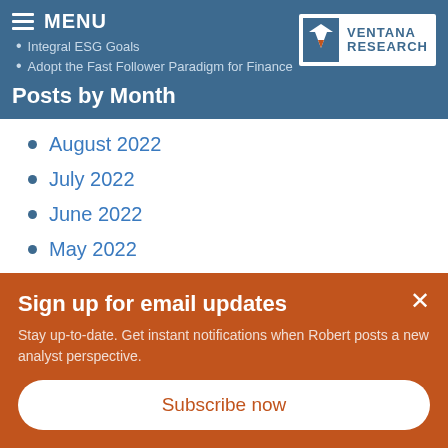MENU
Integral ESG Goals
Adopt the Fast Follower Paradigm for Finance
[Figure (logo): Ventana Research logo with white V-shaped bird icon on blue background and company name]
Posts by Month
August 2022
July 2022
June 2022
May 2022
April 2022
March 2022
Sign up for email updates
Stay up-to-date. Get instant notifications when Robert posts a new analyst perspective.
Subscribe now